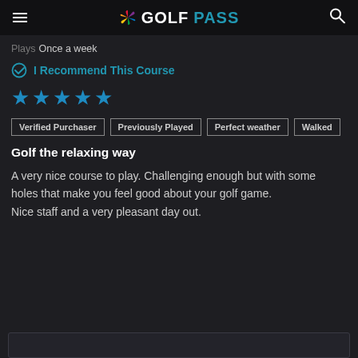GOLF PASS
Plays  Once a week
I Recommend This Course
★★★★★
Verified Purchaser
Previously Played
Perfect weather
Walked
Golf the relaxing way
A very nice course to play. Challenging enough but with some holes that make you feel good about your golf game.
Nice staff and a very pleasant day out.